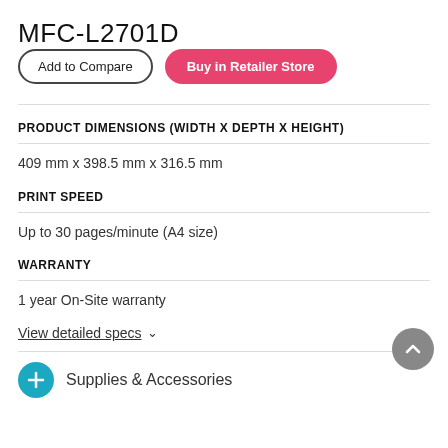MFC-L2701D
Add to Compare | Buy in Retailer Store
PRODUCT DIMENSIONS (WIDTH X DEPTH X HEIGHT)
409 mm x 398.5 mm x 316.5 mm
PRINT SPEED
Up to 30 pages/minute (A4 size)
WARRANTY
1 year On-Site warranty
View detailed specs ∨
Supplies & Accessories